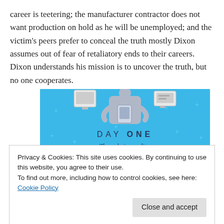career is teetering; the manufacturer contractor does not want production on hold as he will be unemployed; and the victim's peers prefer to conceal the truth mostly Dixon assumes out of fear of retaliatory ends to their careers. Dixon understands his mission is to uncover the truth, but no one cooperates.
[Figure (illustration): Day One journaling app advertisement on a blue background. Shows a person holding a phone with a t-shirt and monitor icons. Text reads 'DAY ONE' and 'The only journaling app you'll ever need.']
Privacy & Cookies: This site uses cookies. By continuing to use this website, you agree to their use.
To find out more, including how to control cookies, see here: Cookie Policy
Close and accept